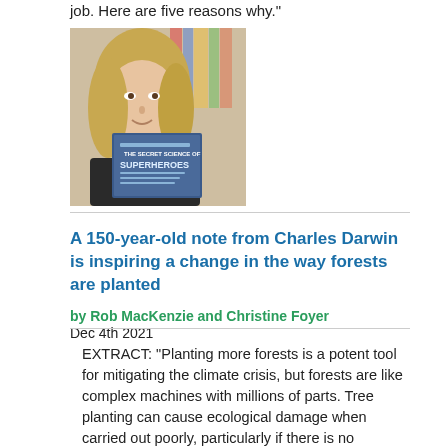job. Here are five reasons why."
[Figure (photo): Woman holding a book titled 'The Secret Science of Superheroes' in front of a shelf of books]
A 150-year-old note from Charles Darwin is inspiring a change in the way forests are planted
by Rob MacKenzie and Christine Foyer
Dec 4th 2021
EXTRACT: "Planting more forests is a potent tool for mitigating the climate crisis, but forests are like complex machines with millions of parts. Tree planting can cause ecological damage when carried out poorly, particularly if there is no commitment to